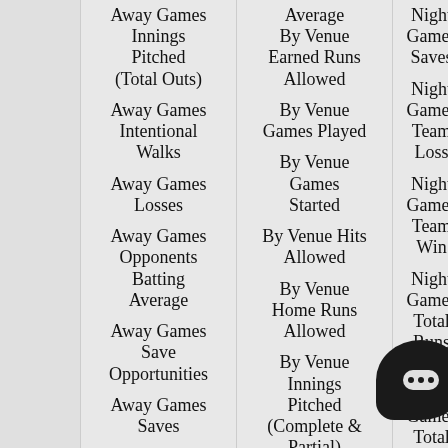|  | Column 1 | Column 2 | Column 3 |
| --- | --- | --- | --- |
|  | Away Games Innings Pitched (Total Outs) | Average By Venue Earned Runs Allowed | Night Games Saves |
|  | Away Games Intentional Walks | By Venue Games Played | Night Games Team Loss |
|  | Away Games Losses | By Venue Games Started | Night Games Team Win |
|  | Away Games Opponents Batting Average | By Venue Hits Allowed | Night Games Total Runs Allowed |
|  | Away Games Save Opportunities | By Venue Home Runs Allowed | Night Games Total Strikeouts |
|  | Away Games Saves | By Venue Innings Pitched (Complete & Partial) | Night Games Walks |
|  | Away Games |  | Night Games Batters Faced Vs. Lefties |